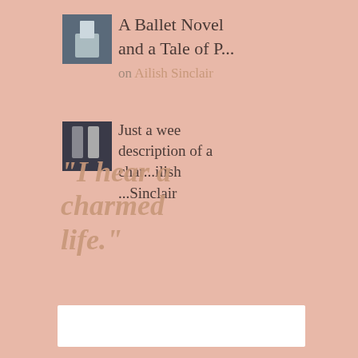[Figure (photo): Small thumbnail image of ballet shoes or dance-related photo, dark blue-grey tones]
A Ballet Novel and a Tale of P...
on Ailish Sinclair
[Figure (photo): Small thumbnail image showing two candles or glasses, dark tones]
Just a wee description of a char...ilish 
...Sinclair
"I hear a charmed life."
WM
SHAKESPEARE
-- MACBETH